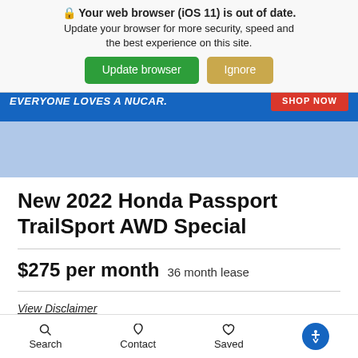[Figure (screenshot): Browser warning banner overlay: 'Your web browser (iOS 11) is out of date. Update your browser for more security, speed and the best experience on this site.' with green 'Update browser' and tan 'Ignore' buttons. Below is a blue banner with italic white text 'EVERYONE LOVES A NUCAR.' and a red 'SHOP NOW' button.]
New 2022 Honda Passport TrailSport AWD Special
$275 per month  36 month lease
View Disclaimer
SHOP INVENTORY
VALUE YOUR TRADE
Search   Contact   Saved   [Accessibility]